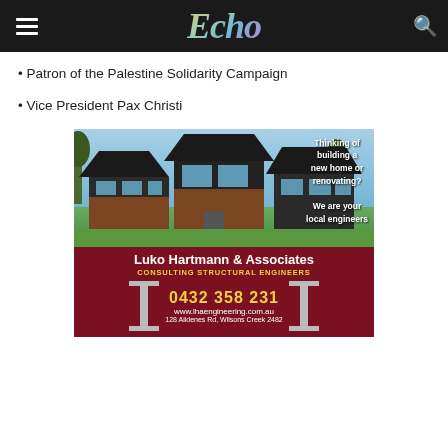Echo
Patron of the Palestine Solidarity Campaign
Vice President Pax Christi
[Figure (infographic): Advertisement for Luko Hartmann & Associates Consulting Structural Engineers. Shows a photo of modern houses with text overlay 'Thinking of building a new home or renovating? We are your local engineers'. Below is a dark red panel with company name in white, subtitle in yellow, phone number 0432 358 231, website www.lhaengineering.com.au and address 128 Alidenes Rd, Wilsons Creek 2482.]